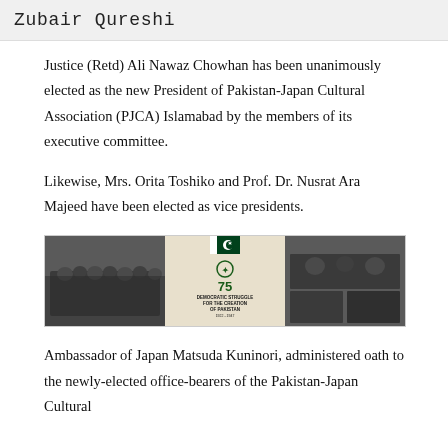Zubair Qureshi
Justice (Retd) Ali Nawaz Chowhan has been unanimously elected as the new President of Pakistan-Japan Cultural Association (PJCA) Islamabad by the members of its executive committee.
Likewise, Mrs. Orita Toshiko and Prof. Dr. Nusrat Ara Majeed have been elected as vice presidents.
[Figure (photo): Composite image showing historical photos related to Pakistan's creation. Left panel: black and white group photo labeled 'Day of Deliverance, 1939'. Center panel: cream background with Pakistan government emblem, '75', and text 'DEMOCRATIC STRUGGLE FOR THE CREATION OF PAKISTAN 1922-1947'. Right panel: black and white photos labeled 'Lahore Resolution, 1940'.]
Ambassador of Japan Matsuda Kuninori, administered oath to the newly-elected office-bearers of the Pakistan-Japan Cultural